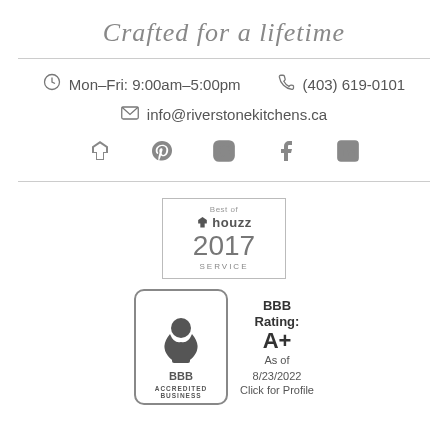Crafted for a lifetime
Mon–Fri: 9:00am–5:00pm    (403) 619-0101
info@riverstonekitchens.ca
[Figure (infographic): Social media icons: Houzz, Pinterest, Instagram, Facebook, LinkedIn]
[Figure (logo): Best of Houzz 2017 Service badge]
[Figure (logo): BBB Accredited Business badge with BBB Rating: A+ As of 8/23/2022 Click for Profile]